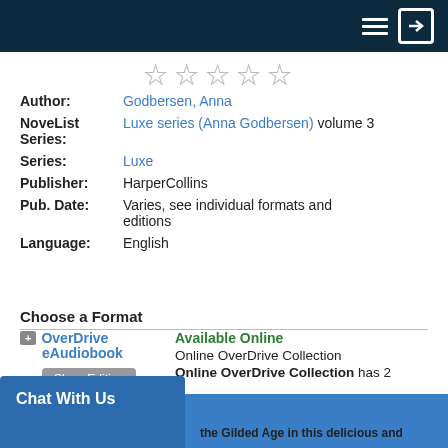Navigation header with hamburger menu and login icon
[Figure (other): Five empty star rating icons]
| Author: | Godbersen, Anna |
| NoveList Series: | Luxe series (Anna Godbersen) volume 3 |
| Series: | Luxe |
| Publisher: | HarperCollins |
| Pub. Date: | Varies, see individual formats and editions |
| Language: | English |
Choose a Format
+ OverDrive eAudiobook | Show Edition | Available Online | Online OverDrive Collection | Online OverDrive Collection has 2
Check Out OverDrive
Add a Review   Add To List   [share icons: email, twitter, facebook, pinterest]
Chat With Us
the Gilded Age in this delicious and